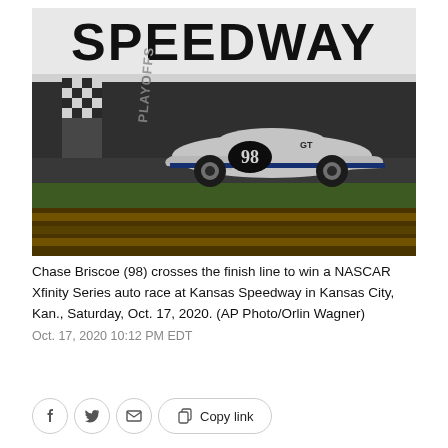[Figure (photo): NASCAR race car #98 (Chase Briscoe) crossing the finish line at Kansas Speedway at night. The car is a white Ford Mustang. The large 'SPEEDWAY' sign is visible in the background above the checkered finish line stripe. The infield grass and track surface are visible.]
Chase Briscoe (98) crosses the finish line to win a NASCAR Xfinity Series auto race at Kansas Speedway in Kansas City, Kan., Saturday, Oct. 17, 2020. (AP Photo/Orlin Wagner)
Oct. 17, 2020 10:12 PM EDT